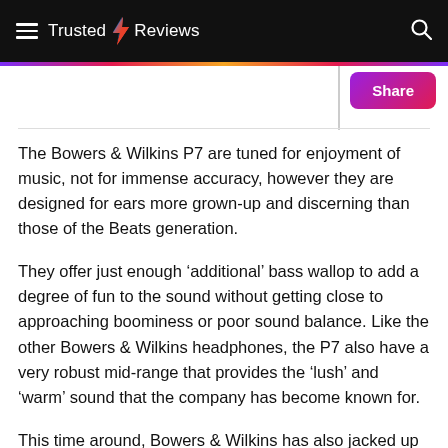Trusted Reviews
The Bowers & Wilkins P7 are tuned for enjoyment of music, not for immense accuracy, however they are designed for ears more grown-up and discerning than those of the Beats generation.
They offer just enough ‘additional’ bass wallop to add a degree of fun to the sound without getting close to approaching boominess or poor sound balance. Like the other Bowers & Wilkins headphones, the P7 also have a very robust mid-range that provides the ‘lush’ and ‘warm’ sound that the company has become known for.
This time around, Bowers & Wilkins has also jacked up the treble to avoid the veiled sound that some accused the original P5 headphones of having. The Bowers & Wilkins